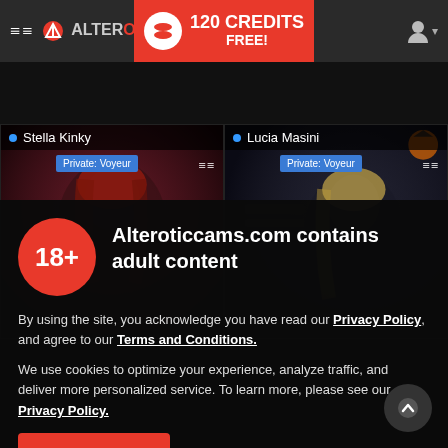[Figure (screenshot): AlterEroticCams website navigation bar with hamburger menu, logo, 120 Credits Free banner, and user icon]
[Figure (screenshot): Two webcam preview tiles: left showing 'Stella Kinky' with Private: Voyeur badge, right showing 'Lucia Masini' with Private: Voyeur badge]
[Figure (infographic): 18+ age verification modal overlay with pink circle, adult content warning, Privacy Policy and Terms and Conditions links, cookie notice, and I AGREE button]